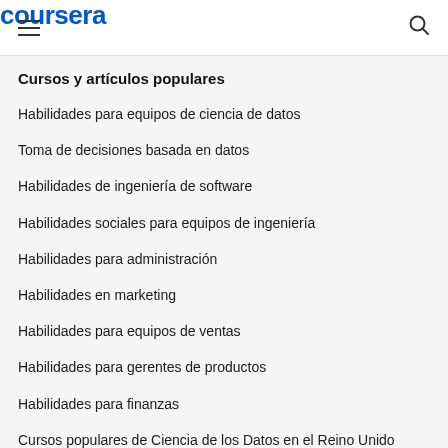coursera
Cursos y artículos populares
Habilidades para equipos de ciencia de datos
Toma de decisiones basada en datos
Habilidades de ingeniería de software
Habilidades sociales para equipos de ingeniería
Habilidades para administración
Habilidades en marketing
Habilidades para equipos de ventas
Habilidades para gerentes de productos
Habilidades para finanzas
Cursos populares de Ciencia de los Datos en el Reino Unido
Beliebte Technologiekurse in Deutschland
Certificaciones populares en Seguridad Cibernética
Certificaciones populares en TI
Certificaciones populares en SQL